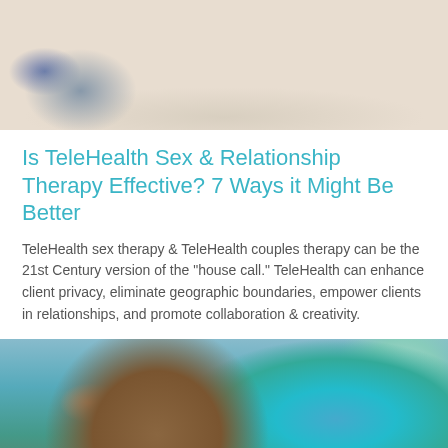[Figure (photo): Top portion of photo showing two people on a carpet/floor, partial view of legs and feet on a fluffy white rug]
Is TeleHealth Sex & Relationship Therapy Effective? 7 Ways it Might Be Better
TeleHealth sex therapy & TeleHealth couples therapy can be the 21st Century version of the "house call." TeleHealth can enhance client privacy, eliminate geographic boundaries, empower clients in relationships, and promote collaboration & creativity.
[Figure (photo): Photo of a couple smiling together, woman with sunglasses and dark hair lying down, person in colorful floral top beside her]